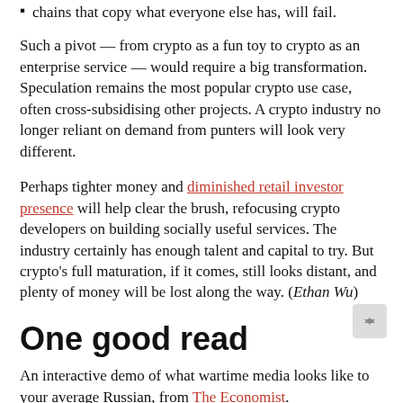chains that copy what everyone else has, will fail.
Such a pivot — from crypto as a fun toy to crypto as an enterprise service — would require a big transformation. Speculation remains the most popular crypto use case, often cross-subsidising other projects. A crypto industry no longer reliant on demand from punters will look very different.
Perhaps tighter money and diminished retail investor presence will help clear the brush, refocusing crypto developers on building socially useful services. The industry certainly has enough talent and capital to try. But crypto's full maturation, if it comes, still looks distant, and plenty of money will be lost along the way. (Ethan Wu)
One good read
An interactive demo of what wartime media looks like to your average Russian, from The Economist.
Recommended newsletters